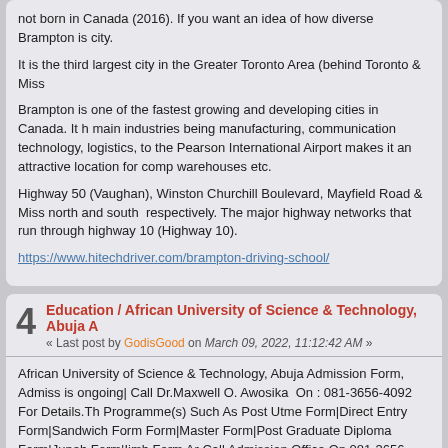not born in Canada (2016). If you want an idea of how diverse Brampton is city.
It is the third largest city in the Greater Toronto Area (behind Toronto & Miss
Brampton is one of the fastest growing and developing cities in Canada. It h main industries being manufacturing, communication technology, logistics, to the Pearson International Airport makes it an attractive location for comp warehouses etc.
Highway 50 (Vaughan), Winston Churchill Boulevard, Mayfield Road & Miss north and south  respectively. The major highway networks that run through highway 10 (Highway 10).
https://www.hitechdriver.com/brampton-driving-school/
4  Education / African University of Science & Technology, Abuja A
« Last post by GodisGood on March 09, 2022, 11:12:42 AM »
African University of Science & Technology, Abuja Admission Form, Admiss is ongoing| Call Dr.Maxwell O. Awosika  On : 081-3656-4092 For Details.Th Programme(s) Such As Post Utme Form|Direct Entry Form|Sandwich Form Form|Master Form|Post Graduate Diploma Form|Jupeb Form|Ijmb Form Ar Call Admission Office On 081-3656-4092 For More Information on how to a